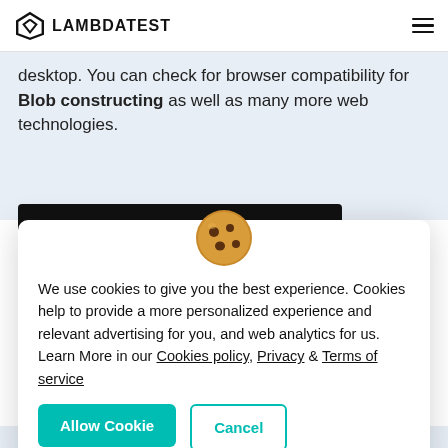LAMBDATEST
desktop. You can check for browser compatibility for Blob constructing as well as many more web technologies.
[Figure (screenshot): Dark button with white text reading 'Test Now on Opera 78' with cookie emoji overlaid in center]
[Figure (illustration): Cookie emoji icon]
We use cookies to give you the best experience. Cookies help to provide a more personalized experience and relevant advertising for you, and web analytics for us. Learn More in our Cookies policy, Privacy & Terms of service
Allow Cookie
Cancel
Opera version 78.